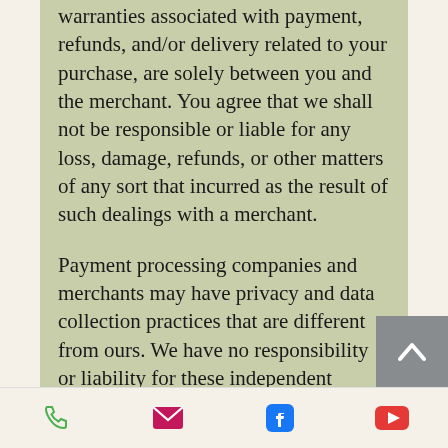warranties associated with payment, refunds, and/or delivery related to your purchase, are solely between you and the merchant. You agree that we shall not be responsible or liable for any loss, damage, refunds, or other matters of any sort that incurred as the result of such dealings with a merchant.
Payment processing companies and merchants may have privacy and data collection practices that are different from ours. We have no responsibility or liability for these independent policies of the payment processing companies and Merchants. In addition, when you make certain purchases through our Website or its Content, you may be subject to the additional terms and conditions of a payment processing company, Merchant or us that specifically apply